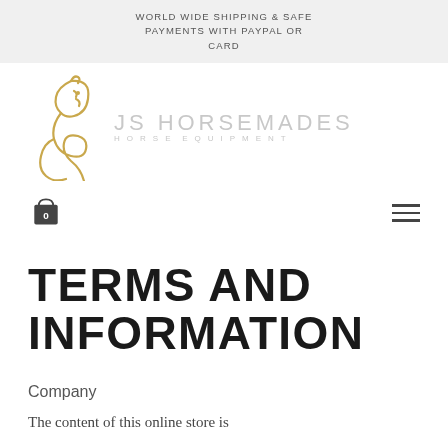WORLD WIDE SHIPPING & SAFE PAYMENTS WITH PAYPAL OR CARD
[Figure (logo): JS Horsemades horse equipment logo — stylized horse head outline in gold with 'JS HORSEMADES' and 'HORSE EQUIPMENT' text in light grey]
[Figure (other): Shopping cart icon with number 0 and hamburger menu icon]
TERMS AND INFORMATION
Company
The content of this online store is